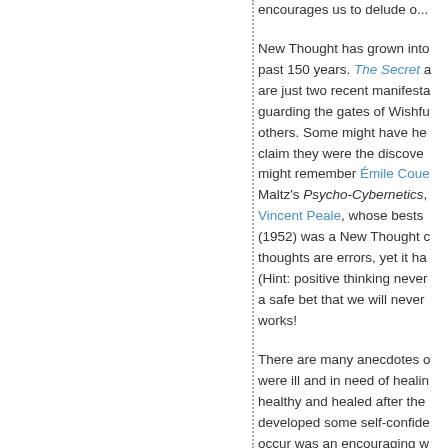encourages us to delude o...
New Thought has grown into the past 150 years. The Secret a... are just two recent manifesta... guarding the gates of Wishfu... others. Some might have he... claim they were the discove... might remember Émile Coue... Maltz's Psycho-Cybernetics, Vincent Peale, whose bests... (1952) was a New Thought c... thoughts are errors, yet it ha... (Hint: positive thinking never a safe bet that we will never works!
There are many anecdotes o... were ill and in need of healin... healthy and healed after the... developed some self-confide... occur was an encouraging w... mountebank, or a celebrity. ...